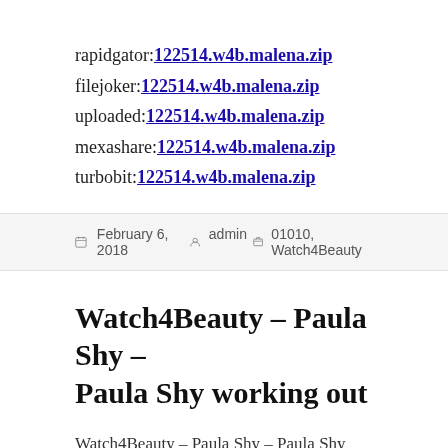rapidgator:122514.w4b.malena.zip
filejoker:122514.w4b.malena.zip
uploaded:122514.w4b.malena.zip
mexashare:122514.w4b.malena.zip
turbobit:122514.w4b.malena.zip
February 6, 2018  admin  01010, Watch4Beauty
Watch4Beauty – Paula Shy – Paula Shy working out
Watch4Beauty – Paula Shy – Paula Shy working out